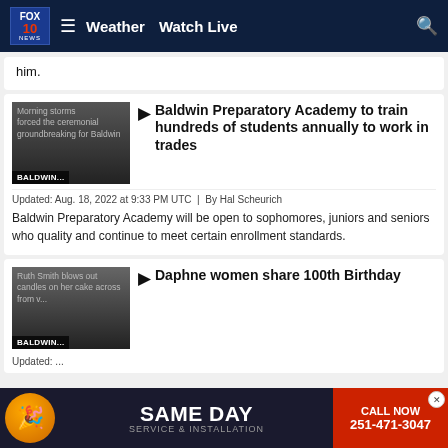FOX 10 NEWS | Weather | Watch Live
him.
Baldwin Preparatory Academy to train hundreds of students annually to work in trades
Updated: Aug. 18, 2022 at 9:33 PM UTC | By Hal Scheurich
Baldwin Preparatory Academy will be open to sophomores, juniors and seniors who quality and continue to meet certain enrollment standards.
Daphne women share 100th Birthday
[Figure (screenshot): Advertisement banner for Hansen same day service and installation, phone 251-471-3047]